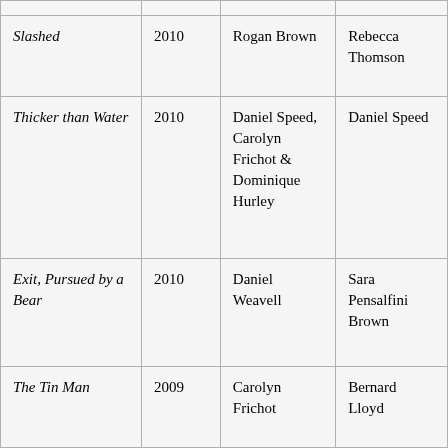| Slashed | 2010 | Rogan Brown | Rebecca Thomson |
| Thicker than Water | 2010 | Daniel Speed, Carolyn Frichot & Dominique Hurley | Daniel Speed |
| Exit, Pursued by a Bear | 2010 | Daniel Weavell | Sara Pensalfini Brown |
| The Tin Man | 2009 | Carolyn Frichot | Bernard Lloyd |